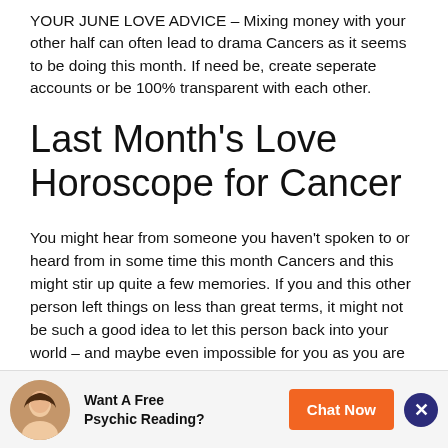YOUR JUNE LOVE ADVICE – Mixing money with your other half can often lead to drama Cancers as it seems to be doing this month. If need be, create seperate accounts or be 100% transparent with each other.
Last Month's Love Horoscope for Cancer
You might hear from someone you haven't spoken to or heard from in some time this month Cancers and this might stir up quite a few memories. If you and this other person left things on less than great terms, it might not be such a good idea to let this person back into your world – and maybe even impossible for you as you are such an emotional person at times. Just don't allow yourself to be pressured into doing anything you really don't want to do.
Want A Free Psychic Reading? Chat Now